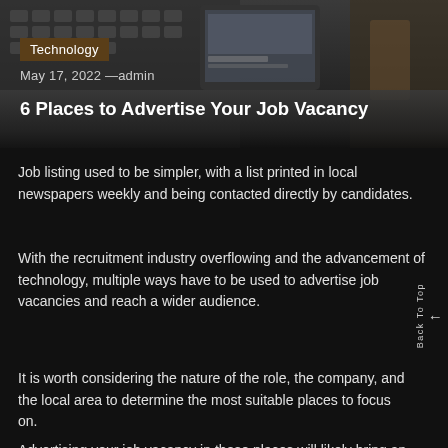[Figure (photo): Hero image showing a laptop keyboard, a tablet device, and a hand writing — technology/workplace theme with dark overlay]
Technology
May 17, 2022 —admin
6 Places to Advertise Your Job Vacancy
Job listing used to be simpler, with a list printed in local newspapers weekly and being contacted directly by candidates.
With the recruitment industry overflowing and the advancement of technology, multiple ways have to be used to advertise job vacancies and reach a wider audience.
It is worth considering the nature of the role, the company, and the local area to determine the most suitable places to focus on.
Advertising your job vacancy in these places will likely bring an abundance of applicants, so you will not have to worry about a